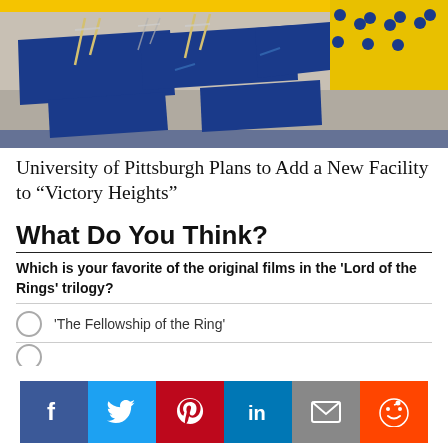[Figure (photo): Aerial rendering of a gymnastics facility with blue mats, parallel bars, and yellow and blue bleachers in the background. University of Pittsburgh color scheme.]
University of Pittsburgh Plans to Add a New Facility to “Victory Heights”
What Do You Think?
Which is your favorite of the original films in the 'Lord of the Rings' trilogy?
'The Fellowship of the Ring'